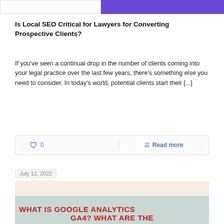[Figure (other): Top banner with white left half and purple right half]
Is Local SEO Critical for Lawyers for Converting Prospective Clients?
If you've seen a continual drop in the number of clients coming into your legal practice over the last few years, there's something else you need to consider. In today's world, potential clients start their [...]
0   Read more
July 12, 2022
[Figure (other): Blog post thumbnail image with text overlay reading WHAT IS GOOGLE ANALYTICS GA4? WHAT ARE THE in bold red uppercase letters on a two-tone cream and sage background]